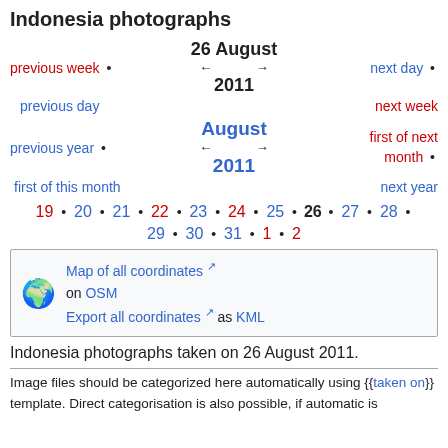Indonesia photographs
previous week • 26 August 2011 • next day
previous day • next week
previous year • August 2011 • first of next month •
first of this month • next year
19 • 20 • 21 • 22 • 23 • 24 • 25 • 26 • 27 • 28 •
29 • 30 • 31 • 1 • 2
Map of all coordinates on OSM
Export all coordinates as KML
Indonesia photographs taken on 26 August 2011.
Image files should be categorized here automatically using {{taken on}} template. Direct categorisation is also possible, if automatic is